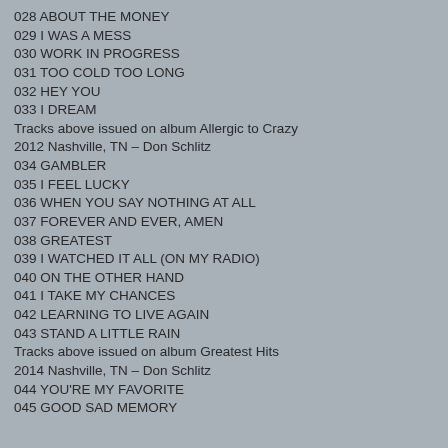028 ABOUT THE MONEY
029 I WAS A MESS
030 WORK IN PROGRESS
031 TOO COLD TOO LONG
032 HEY YOU
033 I DREAM
Tracks above issued on album Allergic to Crazy
2012 Nashville, TN – Don Schlitz
034 GAMBLER
035 I FEEL LUCKY
036 WHEN YOU SAY NOTHING AT ALL
037 FOREVER AND EVER, AMEN
038 GREATEST
039 I WATCHED IT ALL (ON MY RADIO)
040 ON THE OTHER HAND
041 I TAKE MY CHANCES
042 LEARNING TO LIVE AGAIN
043 STAND A LITTLE RAIN
Tracks above issued on album Greatest Hits
2014 Nashville, TN – Don Schlitz
044 YOU'RE MY FAVORITE
045 GOOD SAD MEMORY